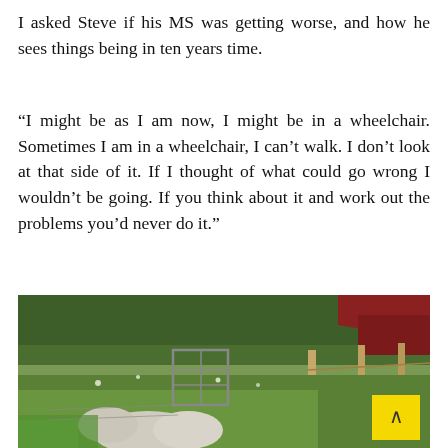I asked Steve if his MS was getting worse, and how he sees things being in ten years time.
“I might be as I am now, I might be in a wheelchair. Sometimes I am in a wheelchair, I can’t walk. I don’t look at that side of it. If I thought of what could go wrong I wouldn’t be going. If you think about it and work out the problems you’d never do it.”
[Figure (photo): Outdoor farm scene with lush green grass and vegetation, wooden fence posts, trees in background, red-roofed building visible at top right, animal (sheep) visible in foreground. A yellow scroll-up button overlay is visible at bottom right.]